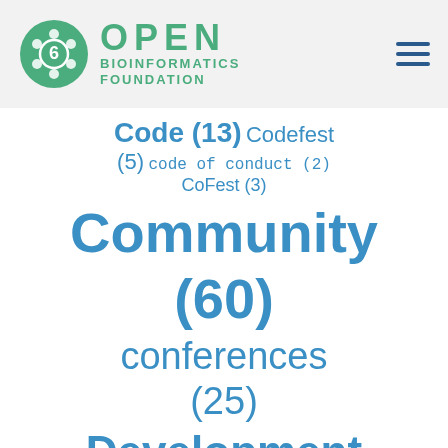Open Bioinformatics Foundation logo and navigation
Code (13) Codefest (5) code of conduct (2) CoFest (3) Community (60) conferences (25) Development (34) EMBOSS (1) Event Fellowship (8) FASTO (10) galaxy (2)